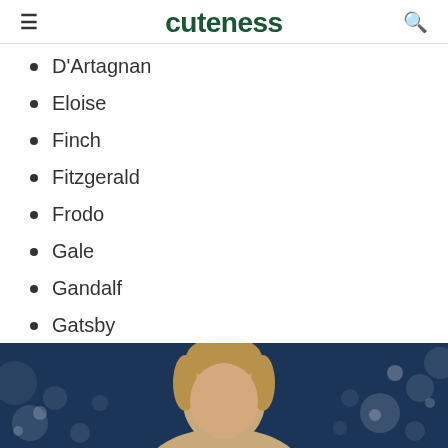cuteness
D'Artagnan
Eloise
Finch
Fitzgerald
Frodo
Gale
Gandalf
Gatsby
[Figure (photo): A man with blond hair photographed against a dark background with bokeh light effects, partially cropped at the bottom of the page.]